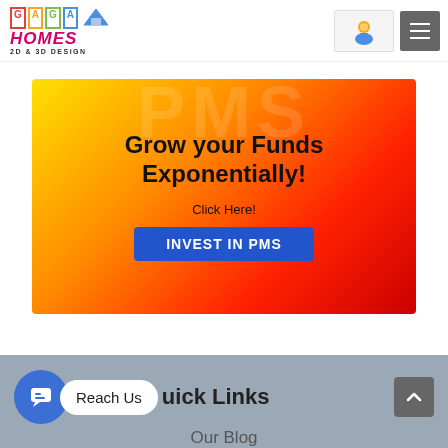GAGA Homes 2D & 3D Design – navigation header with logo and hamburger menu
[Figure (infographic): Promotional banner with gradient background (yellow to red). Text reads: Grow your Funds Exponentially! Click Here! INVEST IN PMS]
Quick Links
Reach Us
Our Blog